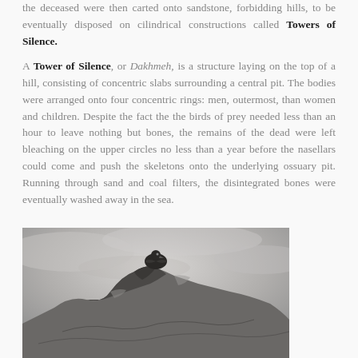the deceased were then carted onto sandstone, forbidding hills, to be eventually disposed on cilindrical constructions called Towers of Silence.
A Tower of Silence, or Dakhmeh, is a structure laying on the top of a hill, consisting of concentric slabs surrounding a central pit. The bodies were arranged onto four concentric rings: men, outermost, than women and children. Despite the fact the the birds of prey needed less than an hour to leave nothing but bones, the remains of the dead were left bleaching on the upper circles no less than a year before the nasellars could come and push the skeletons onto the underlying ossuary pit. Running through sand and coal filters, the disintegrated bones were eventually washed away in the sea.
[Figure (photo): Black and white photograph of a large bird of prey (vulture or similar) perched on top of a rocky, mountainous landscape. The image is dramatic with a cloudy sky background.]